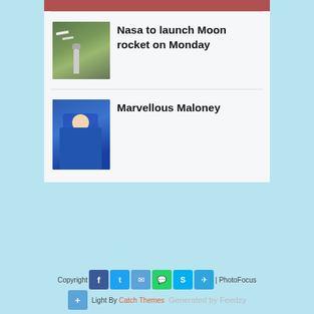[Figure (photo): Partial top strip of a photo visible at top of card]
Nasa to launch Moon rocket on Monday
[Figure (photo): Aerial photo of NASA launch site with rocket and planes]
Marvellous Maloney
[Figure (photo): Athlete in blue uniform celebrating on podium]
Copyright 2022 Jibril Radio | PhotoFocus Light By Catch Themes Generated by Feedzy